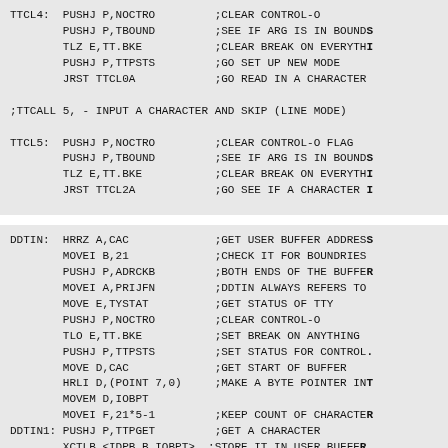TTCL4:  PUSHJ P,NOCTRO         ;CLEAR CONTROL-O
        PUSHJ P,TBOUND         ;SEE IF ARG IS IN BOUNDS
        TLZ E,TT.BKE           ;CLEAR BREAK ON EVERYTHING
        PUSHJ P,TTPSTS         ;GO SET UP NEW MODE
        JRST TTCL0A            ;GO READ IN A CHARACTER

;TTCALL 5, - INPUT A CHARACTER AND SKIP (LINE MODE)

TTCL5:  PUSHJ P,NOCTRO         ;CLEAR CONTROL-O FLAG
        PUSHJ P,TBOUND         ;SEE IF ARG IS IN BOUNDS
        TLZ E,TT.BKE           ;CLEAR BREAK ON EVERYTHING
        JRST TTCL2A            ;GO SEE IF A CHARACTER I
DDTIN:  HRRZ A,CAC             ;GET USER BUFFER ADDRESS
        MOVEI B,21             ;CHECK IT FOR BOUNDRIES
        PUSHJ P,ADRCKB         ;BOTH ENDS OF THE BUFFER
        MOVEI A,PRIJFN         ;DDTIN ALWAYS REFERS TO
        MOVE E,TYSTAT          ;GET STATUS OF TTY
        PUSHJ P,NOCTRO         ;CLEAR CONTROL-O
        TLO E,TT.BKE           ;SET BREAK ON ANYTHING
        PUSHJ P,TTPSTS         ;SET STATUS FOR CONTROL
        MOVE D,CAC             ;GET START OF BUFFER
        HRLI D,(POINT 7,0)     ;MAKE A BYTE POINTER IN
        MOVEM D,IOBPT
        MOVEI F,21*5-1         ;KEEP COUNT OF CHARACTERS
DDTIN1: PUSHJ P,TTPGET         ;GET A CHARACTER
        XCTLB <IDPB B,IOBPT>  ;STORE IT IN USER BUFFER